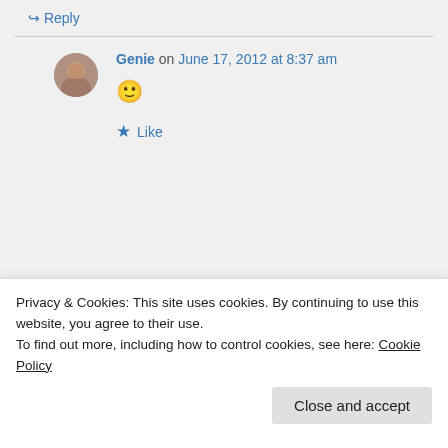↪ Reply
Genie on June 17, 2012 at 8:37 am
[Figure (illustration): Circular avatar photo of commenter Genie]
🙂
★ Like
[Figure (photo): Row of circular profile photos of users, partially visible]
Privacy & Cookies: This site uses cookies. By continuing to use this website, you agree to their use.
To find out more, including how to control cookies, see here: Cookie Policy
Close and accept